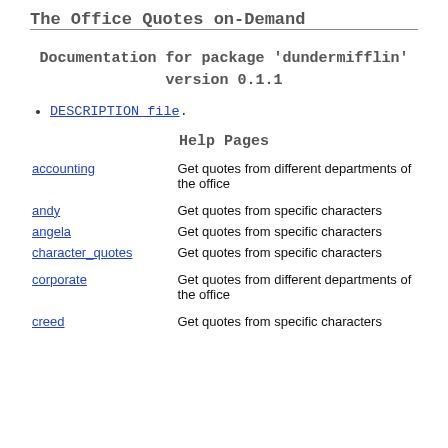The Office Quotes on-Demand
Documentation for package 'dundermifflin' version 0.1.1
DESCRIPTION file.
Help Pages
|  |  |
| --- | --- |
| accounting | Get quotes from different departments of the office |
| andy | Get quotes from specific characters |
| angela | Get quotes from specific characters |
| character_quotes | Get quotes from specific characters |
| corporate | Get quotes from different departments of the office |
| creed | Get quotes from specific characters |